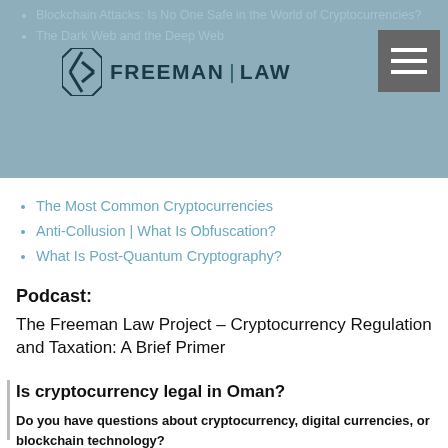Freeman Law — site header with logo and navigation menu
Blockchain Attacks: Is No One Safe in the World of Cryptocurrencies?
The Dark Web and the Deep Web
The Most Common Cryptocurrencies
Anti-Collusion | What Is Obfuscation?
What Is Post-Quantum Cryptography?
Podcast:
The Freeman Law Project – Cryptocurrency Regulation and Taxation: A Brief Primer
Is cryptocurrency legal in Oman?
Do you have questions about cryptocurrency, digital currencies, or blockchain technology? Freeman Law can help with digital currencies, tax planning, and tax compliance. Contact us now to schedule a consultation